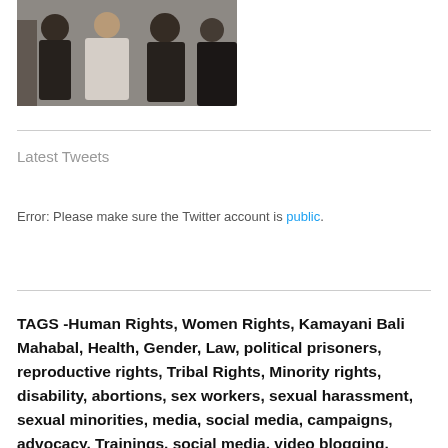[Figure (photo): Group of people in formal/legal attire, appears to be a courtroom or legal gathering scene. One person in light/white clothing surrounded by others in dark robes.]
Latest Tweets
Error: Please make sure the Twitter account is public.
TAGS -Human Rights, Women Rights, Kamayani Bali Mahabal, Health, Gender, Law, political prisoners, reproductive rights, Tribal Rights, Minority rights, disability, abortions, sex workers, sexual harassment, sexual minorities, media, social media, campaigns, advocacy, Trainings, social media, video blogging,